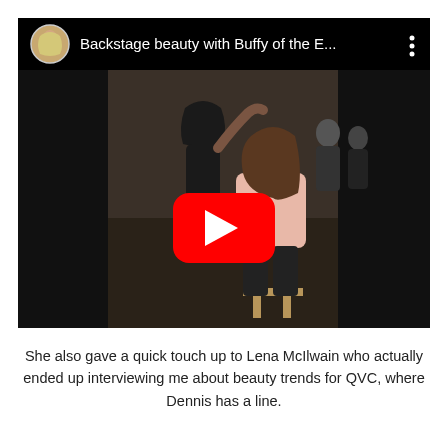[Figure (screenshot): YouTube video thumbnail showing a backstage beauty scene with a stylist working on a model's hair, the model seated on a stool wearing a pink jacket. The video title reads 'Backstage beauty with Buffy of the E...' with a circular avatar of a blonde woman in the top-left corner and a red YouTube play button overlay in the center.]
She also gave a quick touch up to Lena McIlwain who actually ended up interviewing me about beauty trends for QVC, where Dennis has a line.